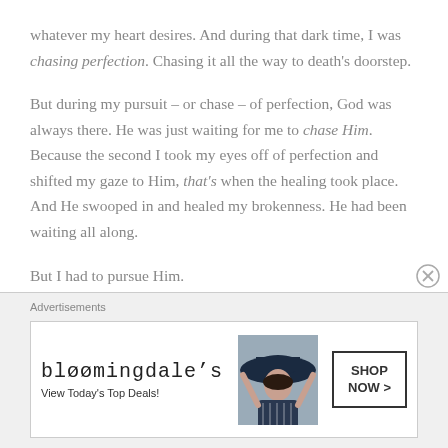whatever my heart desires. And during that dark time, I was chasing perfection. Chasing it all the way to death's doorstep.
But during my pursuit – or chase – of perfection, God was always there. He was just waiting for me to chase Him. Because the second I took my eyes off of perfection and shifted my gaze to Him, that's when the healing took place. And He swooped in and healed my brokenness. He had been waiting all along.
But I had to pursue Him.
[Figure (infographic): Bloomingdale's advertisement banner with logo, 'View Today's Top Deals!' tagline, an image of a woman with a large hat, and a SHOP NOW button.]